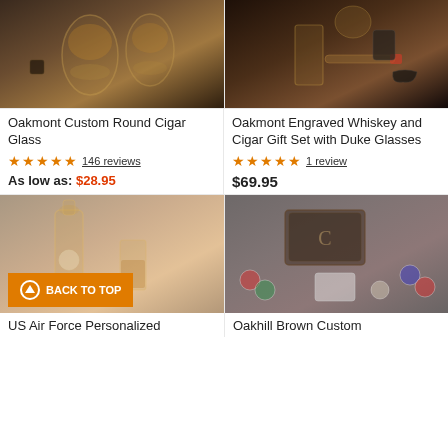[Figure (photo): Oakmont Custom Round Cigar Glass product image showing whiskey glasses on dark background]
Oakmont Custom Round Cigar Glass
★★★★★  146 reviews
As low as: $28.95
[Figure (photo): Oakmont Engraved Whiskey and Cigar Gift Set with Duke Glasses product image]
Oakmont Engraved Whiskey and Cigar Gift Set with Duke Glasses
★★★★★  1 review
$69.95
[Figure (photo): US Air Force Personalized product image with faded overlay]
[Figure (photo): Oakhill Brown Custom product image with faded overlay showing poker chips and cigar case]
US Air Force Personalized
Oakhill Brown Custom